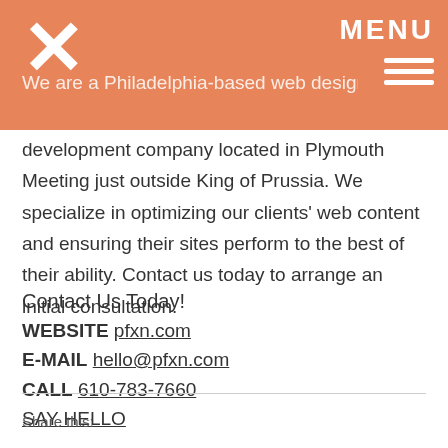MENU
We are a Philadelphia-based web design and development company located in Plymouth Meeting just outside King of Prussia. We specialize in optimizing our clients' web content and ensuring their sites perform to the best of their ability. Contact us today to arrange an initial consultation.
Contact Us Today!
WEBSITE pfxn.com
E-MAIL hello@pfxn.com
CALL 610-783-7660
SAY HELLO
Share this: